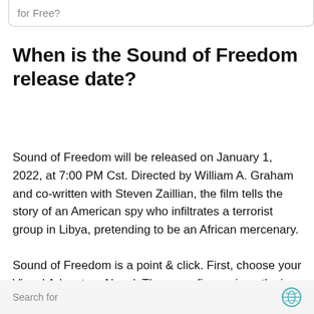for Free?
When is the Sound of Freedom release date?
Sound of Freedom will be released on January 1, 2022, at 7:00 PM Cst. Directed by William A. Graham and co-written with Steven Zaillian, the film tells the story of an American spy who infiltrates a terrorist group in Libya, pretending to be an African mercenary.
Sound of Freedom is a point & click. First, choose your Visual Adventure Novel. There are five main paths in each
Search for